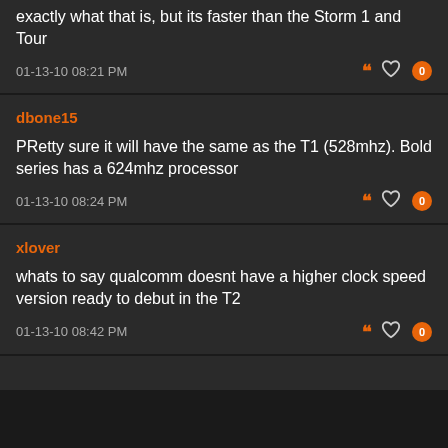improved processor. What of the Storm2. Not sure exactly what that is, but its faster than the Storm 1 and Tour
01-13-10 08:21 PM
dbone15
PRetty sure it will have the same as the T1 (528mhz). Bold series has a 624mhz processor
01-13-10 08:24 PM
xlover
whats to say qualcomm doesnt have a higher clock speed version ready to debut in the T2
01-13-10 08:42 PM